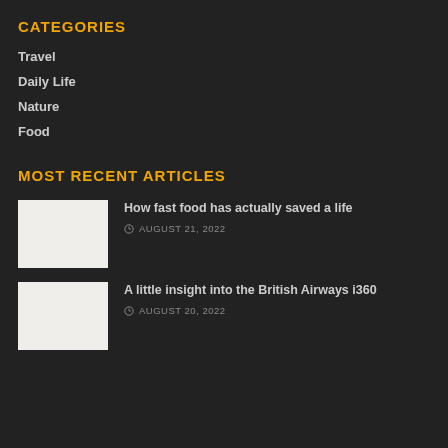CATEGORIES
Travel
Daily Life
Nature
Food
MOST RECENT ARTICLES
How fast food has actually saved a life
AUGUST 21, 2022
A little insight into the British Airways i360
AUGUST 20, 2022